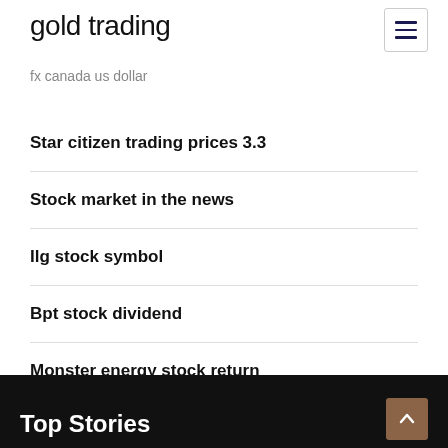gold trading
fx canada us dollar
Star citizen trading prices 3.3
Stock market in the news
Ilg stock symbol
Bpt stock dividend
Monster energy stock return
Top Stories